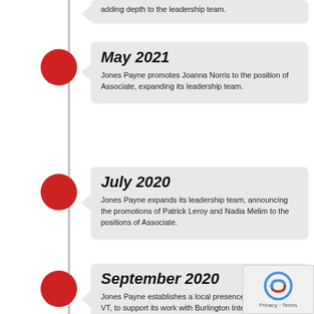adding depth to the leadership team.
May 2021
Jones Payne promotes Joanna Norris to the position of Associate, expanding its leadership team.
July 2020
Jones Payne expands its leadership team, announcing the promotions of Patrick Leroy and Nadia Melim to the positions of Associate.
September 2020
Jones Payne establishes a local presence in Burlington, VT, to support its work with Burlington International Airport's Sound